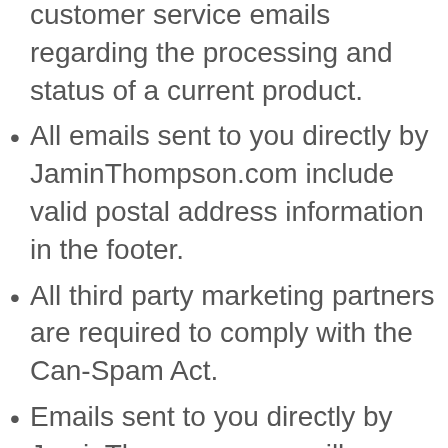customer service emails regarding the processing and status of a current product.
All emails sent to you directly by JaminThompson.com include valid postal address information in the footer.
All third party marketing partners are required to comply with the Can-Spam Act.
Emails sent to you directly by JaminThompson.com will include an email address and physical address where you can send suggestions, complaints or other correspondence.